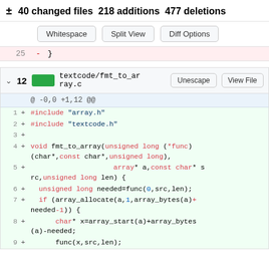± 40 changed files 218 additions 477 deletions
Whitespace  Split View  Diff Options
25   -  }
∨ 12  [green]  textcode/fmt_to_array.c   Unescape   View File
@ -0,0 +1,12 @@
1  +  #include "array.h"
2  +  #include "textcode.h"
3  +
4  +  void fmt_to_array(unsigned long (*func)(char*,const char*,unsigned long),
5  +                    array* a,const char* src,unsigned long len) {
6  +    unsigned long needed=func(0,src,len);
7  +    if (array_allocate(a,1,array_bytes(a)+needed-1)) {
8  +        char* x=array_start(a)+array_bytes(a)-needed;
9  +        func(x,src,len);